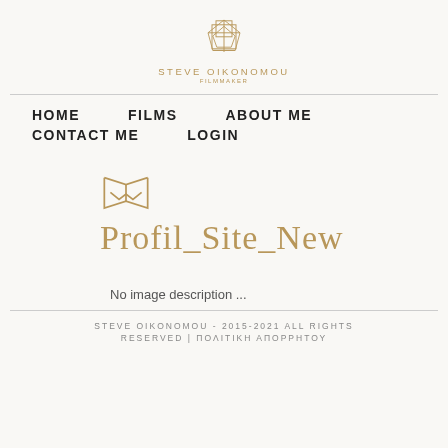STEVE OIKONOMOU
HOME   FILMS   ABOUT ME   CONTACT ME   LOGIN
Profil_Site_New
No image description ...
STEVE OIKONOMOU - 2015-2021 ALL RIGHTS RESERVED | ΠΟΛΙΤΙΚΗ ΑΠΟΡΡΗΤΟΥ